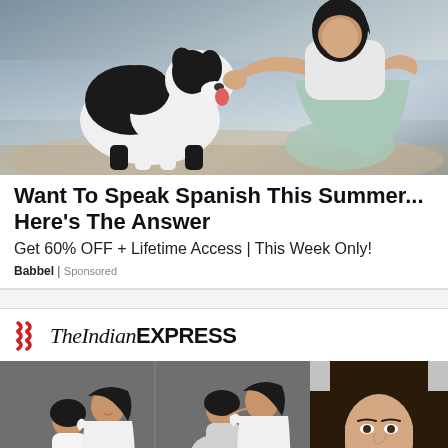[Figure (photo): Woman with a black and white dog outdoors near water, woman wearing light blue/mint outfit]
Want To Speak Spanish This Summer... Here's The Answer
Get 60% OFF + Lifetime Access | This Week Only!
Babbel | Sponsored
[Figure (logo): The Indian EXPRESS logo with red wave marks]
[Figure (photo): Two maternity photoshoot images of a couple in white clothing against grey background, and a portrait of a woman]